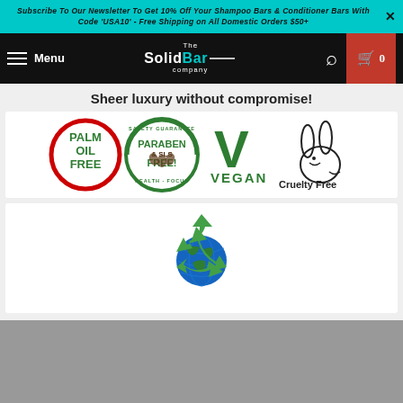Subscribe To Our Newsletter To Get 10% Off Your Shampoo Bars & Conditioner Bars With Code 'USA10' - Free Shipping on All Domestic Orders $50+
[Figure (screenshot): Navigation bar with hamburger menu, The Solid Bar Company logo, search icon, and cart icon on dark background]
Sheer luxury without compromise!
[Figure (infographic): Four product certification badges: Palm Oil Free (red circle), Paraben & SLS Free Safety Guarantee Health Focus (green circle), Vegan (green checkmark with text), Cruelty Free (rabbit illustration)]
[Figure (illustration): Eco-friendly recycling symbol with globe/earth in the center, green recycling arrows surrounding a blue earth graphic]